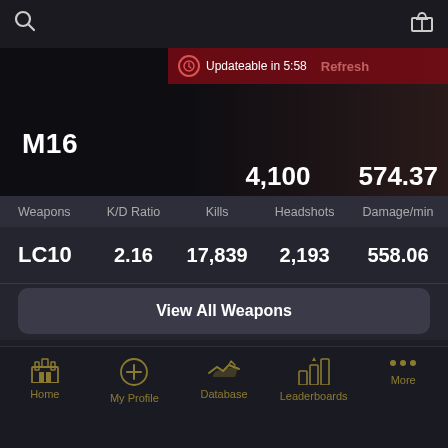Search | Gift
[Figure (screenshot): M16 weapon hero banner with stats: 4,100 and 574.37. Updateable in 5:58. Refresh button shown.]
| Weapons | K/D Ratio | Kills | Headshots | Damage/min |
| --- | --- | --- | --- | --- |
| LC10 | 2.16 | 17,839 | 2,193 | 558.06 |
| M82 | 3.04 | 17,117 | 2,233 | 395.43 |
| RPD | 2.91 | 14,953 | 3,151 | 644.39 |
| M60 | 2.75 | 7,708 | 1,126 | 561.70 |
View All Weapons
Home | My Profile | Database | Leaderboards | More